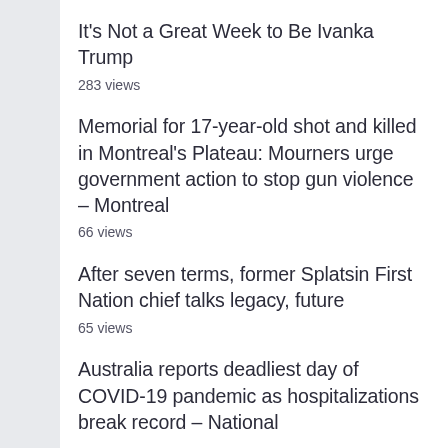It's Not a Great Week to Be Ivanka Trump
283 views
Memorial for 17-year-old shot and killed in Montreal's Plateau: Mourners urge government action to stop gun violence – Montreal
66 views
After seven terms, former Splatsin First Nation chief talks legacy, future
65 views
Australia reports deadliest day of COVID-19 pandemic as hospitalizations break record – National